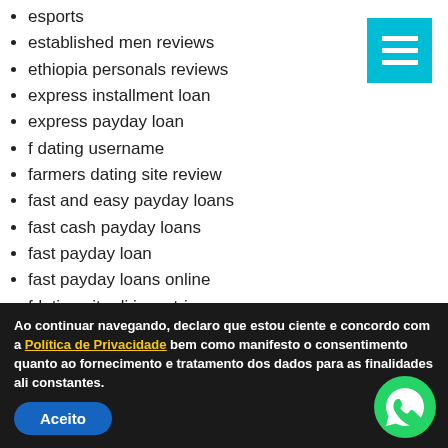esports
established men reviews
ethiopia personals reviews
express installment loan
express payday loan
f dating username
farmers dating site review
fast and easy payday loans
fast cash payday loans
fast payday loan
fast payday loans online
fdating sito di incontri
fdating support
feeld kosten
Fetlife login
fetlife review
filipina brides
filipino cupid como funciona
filipinocupid visitors
[Figure (other): Cyan hamburger menu button with three white horizontal bars]
Ao continuar navegando, declaro que estou ciente e concordo com a Política de Privacidade bem como manifesto o consentimento quanto ao fornecimento e tratamento dos dados para as finalidades ali constantes.